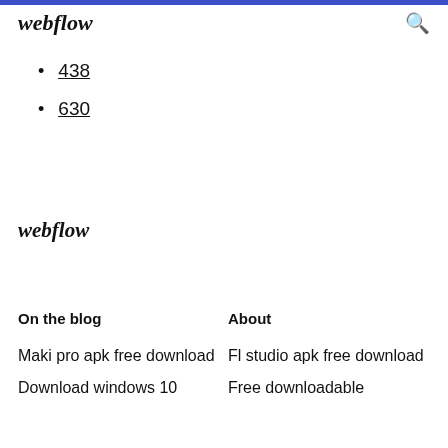webflow
438
630
webflow
On the blog
About
Maki pro apk free download
Fl studio apk free download
Download windows 10
Free downloadable